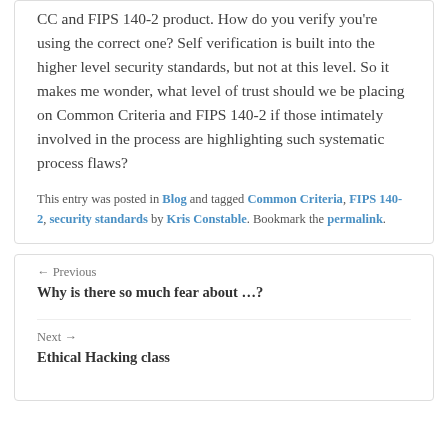CC and FIPS 140-2 product. How do you verify you're using the correct one? Self verification is built into the higher level security standards, but not at this level. So it makes me wonder, what level of trust should we be placing on Common Criteria and FIPS 140-2 if those intimately involved in the process are highlighting such systematic process flaws?
This entry was posted in Blog and tagged Common Criteria, FIPS 140-2, security standards by Kris Constable. Bookmark the permalink.
← Previous
Why is there so much fear about …?
Next →
Ethical Hacking class